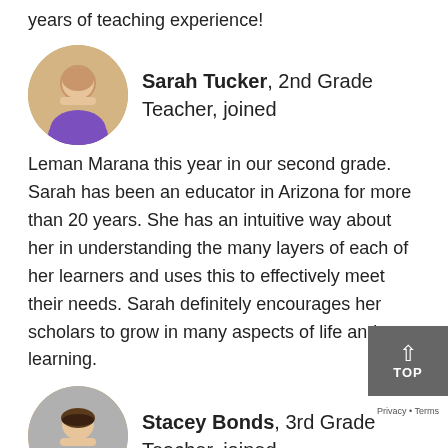years of teaching experience!
[Figure (photo): Circular headshot of Sarah Tucker, a woman in a purple top with a necklace, smiling.]
Sarah Tucker, 2nd Grade Teacher, joined Leman Marana this year in our second grade. Sarah has been an educator in Arizona for more than 20 years. She has an intuitive way about her in understanding the many layers of each of her learners and uses this to effectively meet their needs. Sarah definitely encourages her scholars to grow in many aspects of life and learning.
[Figure (photo): Circular headshot of Stacey Bonds, a woman in a dark top, smiling.]
Stacey Bonds, 3rd Grade Teacher, joined Leman Marana this year in our third grade. Stacey has been in education since 1999 and has an incredible way